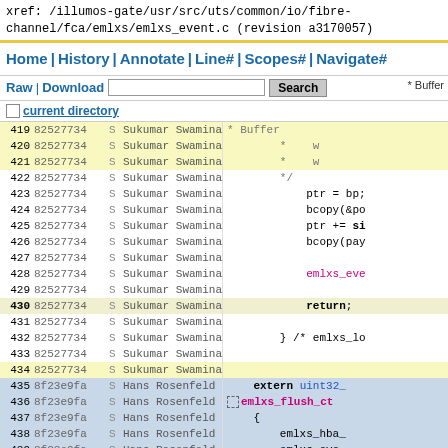xref: /illumos-gate/usr/src/uts/common/io/fibre-channel/fca/emlxs/emlxs_event.c (revision a3170057)
Home | History | Annotate | Line# | Scopes# | Navigate#
Raw | Download  [search box]  Search  Buffer
current directory
| Line | Revision | S | Author | Code |
| --- | --- | --- | --- | --- |
| 419 | 82527734 | S | Sukumar Swaminathan |  |
| 420 | 82527734 | S | Sukumar Swaminathan | w |
| 421 | 82527734 | S | Sukumar Swaminathan | w |
| 422 | 82527734 | S | Sukumar Swaminathan | */ |
| 423 | 82527734 | S | Sukumar Swaminathan | ptr = bp; |
| 424 | 82527734 | S | Sukumar Swaminathan | bcopy(&po |
| 425 | 82527734 | S | Sukumar Swaminathan | ptr += si |
| 426 | 82527734 | S | Sukumar Swaminathan | bcopy(pay |
| 427 | 82527734 | S | Sukumar Swaminathan |  |
| 428 | 82527734 | S | Sukumar Swaminathan | emlxs_eve |
| 429 | 82527734 | S | Sukumar Swaminathan |  |
| 430 | 82527734 | S | Sukumar Swaminathan | return; |
| 431 | 82527734 | S | Sukumar Swaminathan |  |
| 432 | 82527734 | S | Sukumar Swaminathan | } /* emlxs_lo |
| 433 | 82527734 | S | Sukumar Swaminathan |  |
| 434 | 82527734 | S | Sukumar Swaminathan |  |
| 435 | 8f23e9fa | S | Hans Rosenfeld | extern uint32_ |
| 436 | 8f23e9fa | S | Hans Rosenfeld | emlxs_flush_ct |
| 437 | 8f23e9fa | S | Hans Rosenfeld | { |
| 438 | 8f23e9fa | S | Hans Rosenfeld | emlxs_hba_ |
| 439 | 8f23e9fa | S | Hans Rosenfeld | emlxs_eve |
| 440 | 8f23e9fa | S | Hans Rosenfeld | emlxs_eve |
| 441 | 8f23e9fa | S | Hans Rosenfeld | uint32_t |
| 442 | 8f23e9fa | S | Hans Rosenfeld | uint32_t |
| 443 | 8f23e9fa | S | Hans Rosenfeld |  |